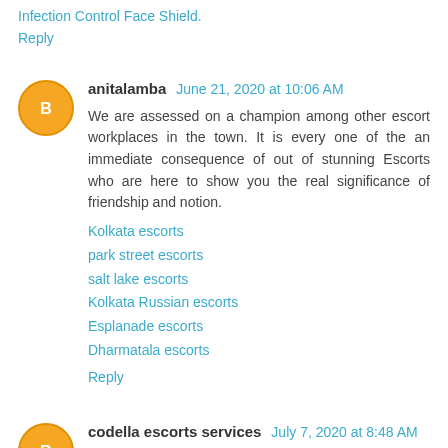Infection Control Face Shield.
Reply
anitalamba  June 21, 2020 at 10:06 AM
We are assessed on a champion among other escort workplaces in the town. It is every one of the an immediate consequence of out of stunning Escorts who are here to show you the real significance of friendship and notion.
Kolkata escorts
park street escorts
salt lake escorts
Kolkata Russian escorts
Esplanade escorts
Dharmatala escorts
Reply
codella escorts services  July 7, 2020 at 8:48 AM
you have done a great job. I will definitely dig it and personally recommend it to my friends. I am confident they